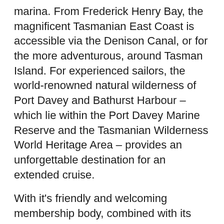marina. From Frederick Henry Bay, the magnificent Tasmanian East Coast is accessible via the Denison Canal, or for the more adventurous, around Tasman Island. For experienced sailors, the world-renowned natural wilderness of Port Davey and Bathurst Harbour – which lie within the Port Davey Marine Reserve and the Tasmanian Wilderness World Heritage Area – provides an unforgettable destination for an extended cruise.
With it's friendly and welcoming membership body, combined with its packed calendar of racing and cruising events, expansive marina, smoothly operated boatyard, vibrant sailing school, refurbished bar, dining room and outdoor barbecue area, it is easy to see why the Derwent Sailing Squadron is a hive of activity for young and old, new and experienced sailors alike.